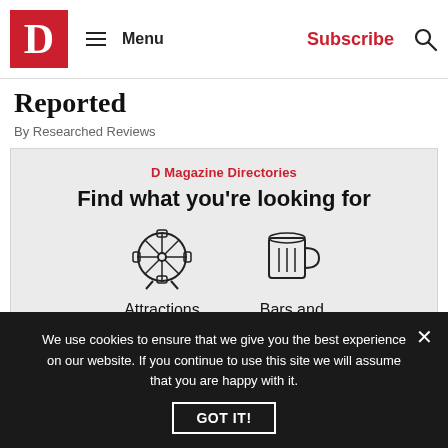D Magazine — Menu | Subscribe
Reported
By Researched Reviews
[Figure (infographic): D Magazine Directories promotional box with heading 'Find what you're looking for' and two icons: a Ferris wheel labeled 'Attractions' and a beer mug labeled 'Bars and Clubs']
We use cookies to ensure that we give you the best experience on our website. If you continue to use this site we will assume that you are happy with it.
GOT IT!